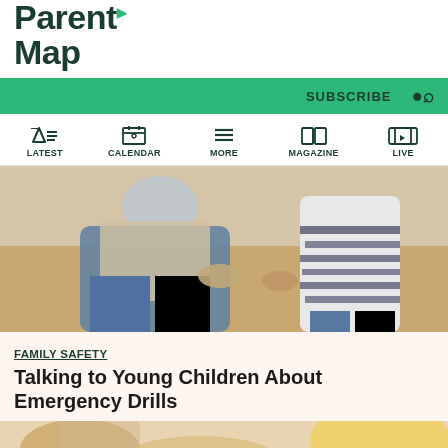ParentMap
SUBSCRIBE
LATEST | CALENDAR | MORE | MAGAZINE | LIVE
[Figure (photo): Adult crouching and holding the hand of a young child in striped shirt, outdoors]
FAMILY SAFETY
Talking to Young Children About Emergency Drills
[Figure (photo): Partial view of child and adult, bottom of page]